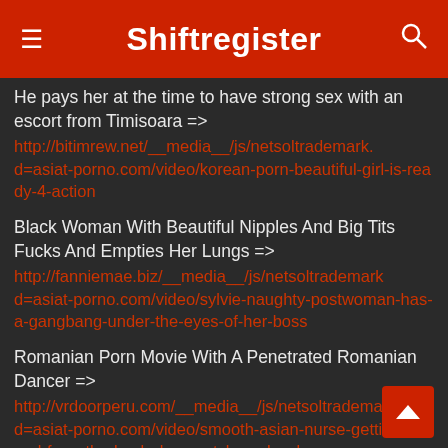Shiftregister
He pays her at the time to have strong sex with an escort from Timisoara => http://bitimrew.net/__media__/js/netsoltrademark.d=asiat-porno.com/video/korean-porn-beautiful-girl-is-ready-4-action
Black Woman With Beautiful Nipples And Big Tits Fucks And Empties Her Lungs => http://fanniemae.biz/__media__/js/netsoltrademark.d=asiat-porno.com/video/sylvie-naughty-postwoman-has-a-gangbang-under-the-eyes-of-her-boss
Romanian Porn Movie With A Penetrated Romanian Dancer => http://vrdoorperu.com/__media__/js/netsoltradema.d=asiat-porno.com/video/smooth-asian-nurse-getting-banged-from-the-back-doggy-style-so-hard
Porn with an exceptionally good pussy =>